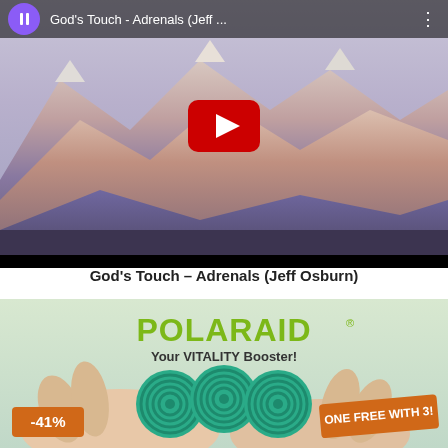[Figure (screenshot): YouTube video thumbnail showing mountain landscape with snow-capped peaks. Top bar shows pause button (purple circle), title 'God's Touch - Adrenals (Jeff ...' and a three-dot menu. A red YouTube play button is centered on the image. A black bar appears at the bottom.]
God's Touch – Adrenals (Jeff Osburn)
[Figure (photo): Advertisement for POLARAID product. Green logo text reads 'POLARAID® Your VITALITY Booster!' showing a hand holding three green spiral disc objects. An orange badge on the left reads '-41%' and an orange rotated badge on the right reads 'ONE FREE WITH 3!']